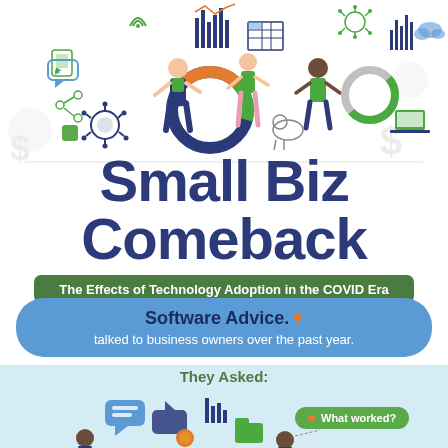[Figure (illustration): Top banner illustration showing people interacting with charts, data visualizations, digital devices, and COVID-era business technology icons on a white background.]
Small Biz Comeback
The Effects of Technology Adoption in the COVID Era
Software Advice. talked to business owners over the past year.
They Asked:
[Figure (illustration): Bottom section showing small business owner figures with speech bubbles, chat icons, coins, bar charts, and a green bubble saying 'What worked?']
What worked?